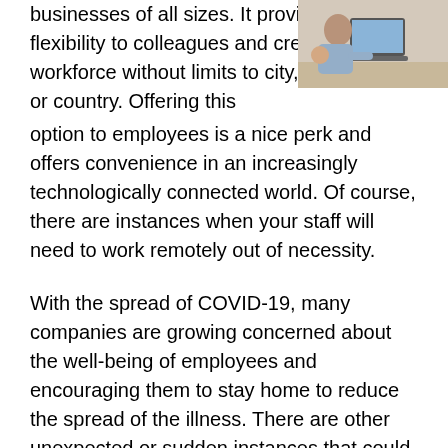[Figure (photo): Person working on a laptop, possibly holding a baby, seated at a desk]
businesses of all sizes. It provides flexibility to colleagues and creates a workforce without limits to city, state, or country. Offering this option to employees is a nice perk and offers convenience in an increasingly technologically connected world. Of course, there are instances when your staff will need to work remotely out of necessity.
With the spread of COVID-19, many companies are growing concerned about the well-being of employees and encouraging them to stay home to reduce the spread of the illness. There are other unexpected or sudden instances that could require your workforce to work remotely, including natural disasters and other unexpected events. Readying a strong remote workforce will keep your business running smoothly with minimal disruption.
As a managed services provider (MSP), it's your